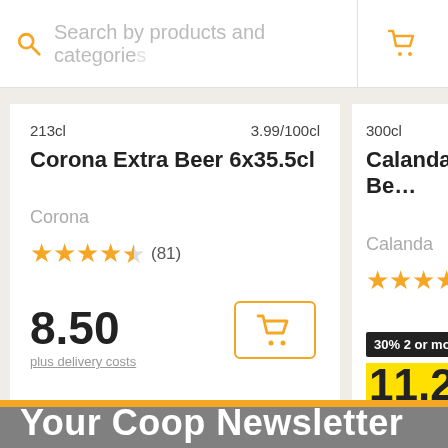Search by products and categories
213cl   3.99/100cl
Corona Extra Beer 6x35.5cl
Corona
★★★★½ (81)
8.50
plus delivery costs
300cl
Calanda Radler Be…
Calanda
★★★★½ (25)
30% 2 or more
11.25
plus delivery costs
Your Coop Newsletter